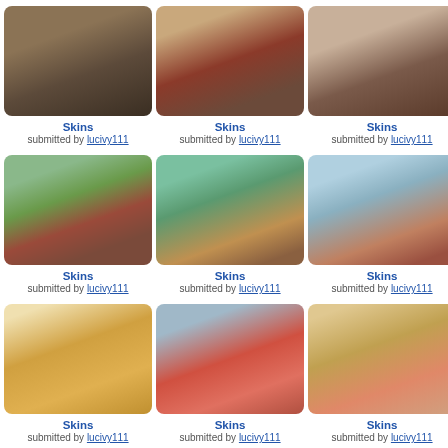[Figure (photo): Grid of TV show thumbnail images with labels]
Skins submitted by lucivy111
Skins submitted by lucivy111
Skins submitted by lucivy111
Skins submitted by lucivy111
Skins submitted by lucivy111
Skins submitted by lucivy111
Skins submitted by lucivy111
Skins submitted by lucivy111
Skins submitted by lucivy111
Skins submitted by lucivy111
Skins submitted by lucivy111
Skins submitted by lucivy111